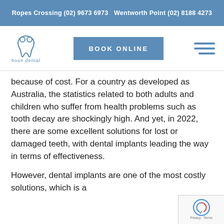Ropes Crossing (02) 9673 6973  Wentworth Point (02) 8188 4273
[Figure (logo): Boon Dental logo with tooth icon and text 'boon dental']
because of cost. For a country as developed as Australia, the statistics related to both adults and children who suffer from health problems such as tooth decay are shockingly high. And yet, in 2022, there are some excellent solutions for lost or damaged teeth, with dental implants leading the way in terms of effectiveness.
However, dental implants are one of the most costly solutions, which is a